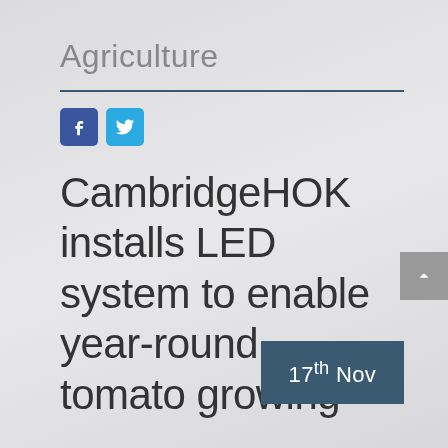Agriculture
[Figure (other): Social media share buttons: Facebook (blue square with 'f') and Twitter (light blue square with bird icon)]
CambridgeHOK installs LED system to enable year-round tomato growing
17th Nov